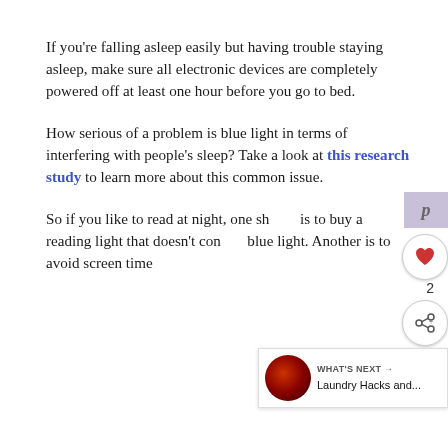If you're falling asleep easily but having trouble staying asleep, make sure all electronic devices are completely powered off at least one hour before you go to bed.
How serious of a problem is blue light in terms of interfering with people's sleep? Take a look at this research study to learn more about this common issue.
So if you like to read at night, one should is to buy a reading light that doesn't contain blue light. Another is to avoid screen time